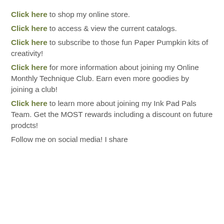Click here to shop my online store.
Click here to access & view the current catalogs.
Click here to subscribe to those fun Paper Pumpkin kits of creativity!
Click here for more information about joining my Online Monthly Technique Club. Earn even more goodies by joining a club!
Click here to learn more about joining my Ink Pad Pals Team. Get the MOST rewards including a discount on future prodcts!
Follow me on social media! I share